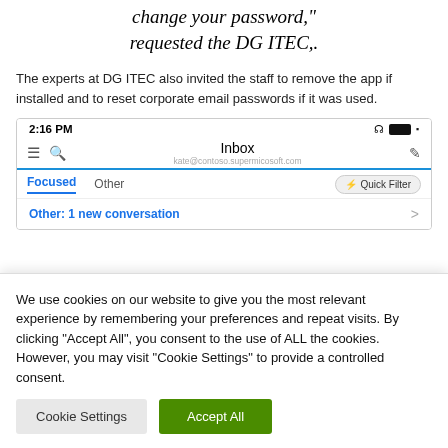change your password," requested the DG ITEC,.
The experts at DG ITEC also invited the staff to remove the app if installed and to reset corporate email passwords if it was used.
[Figure (screenshot): Mobile phone screenshot showing Microsoft Outlook inbox interface with status bar showing 2:16 PM, Inbox title, Focused/Other tabs with Quick Filter button, and a notification 'Other: 1 new conversation']
We use cookies on our website to give you the most relevant experience by remembering your preferences and repeat visits. By clicking "Accept All", you consent to the use of ALL the cookies. However, you may visit "Cookie Settings" to provide a controlled consent.